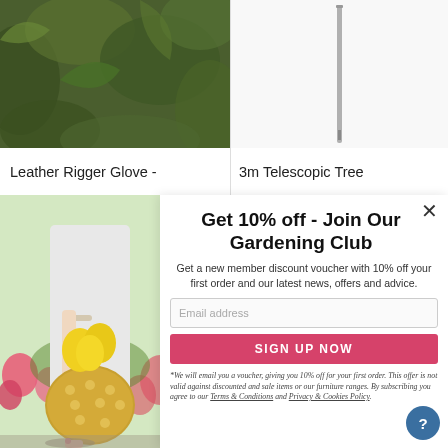[Figure (photo): Product listing showing Leather Rigger Glove with garden foliage background]
Leather Rigger Glove -
[Figure (photo): Product listing showing 3m Telescopic Tree item with white background]
3m Telescopic Tree
[Figure (photo): Woman in white dress holding a yellow floral arrangement in a woven polka-dot basket]
Get 10% off - Join Our Gardening Club
Get a new member discount voucher with 10% off your first order and our latest news, offers and advice.
Email address
SIGN UP NOW
*We will email you a voucher, giving you 10% off for your first order. This offer is not valid against discounted and sale items or our furniture ranges. By subscribing you agree to our Terms & Conditions and Privacy & Cookies Policy.